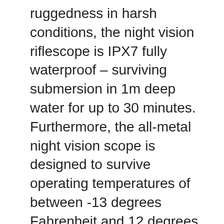ruggedness in harsh conditions, the night vision riflescope is IPX7 fully waterproof – surviving submersion in 1m deep water for up to 30 minutes. Furthermore, the all-metal night vision scope is designed to survive operating temperatures of between -13 degrees Fahrenheit and 12 degrees Fahrenheit.
Pros
IPX7 waterproof rating allows them to operate in high humidity, precipitation, and even submersion underwater
Built-in long range IR illuminator with adjustable IR power levels